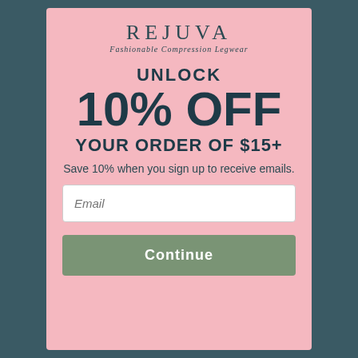[Figure (screenshot): Dark teal/green blurred background representing a website behind the modal popup]
REJUVA
Fashionable Compression Legwear
UNLOCK
10% OFF
YOUR ORDER OF $15+
Save 10% when you sign up to receive emails.
Email
Continue